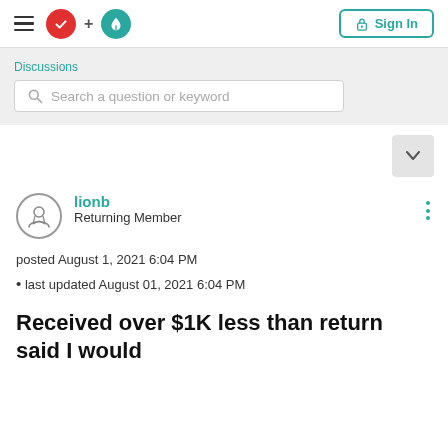Sign In
Discussions
Search a question or keyword
lionb
Returning Member
posted August 1, 2021 6:04 PM
last updated August 01, 2021 6:04 PM
Received over $1K less than return said I would